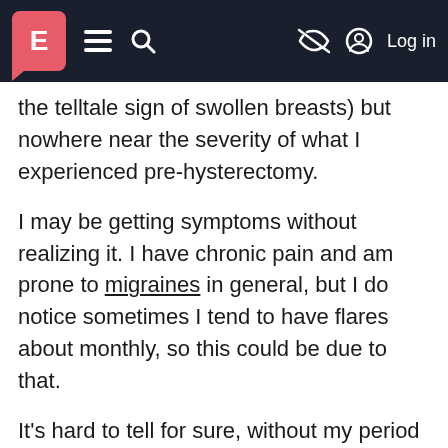E [menu] [search] [hide] Log in
the telltale sign of swollen breasts) but nowhere near the severity of what I experienced pre-hysterectomy.
I may be getting symptoms without realizing it. I have chronic pain and am prone to migraines in general, but I do notice sometimes I tend to have flares about monthly, so this could be due to that.
It's hard to tell for sure, without my period letting me track where I am in my cycle (or if I am cycling on a particular month). Even if I am getting signs, it's nothing like the suffering